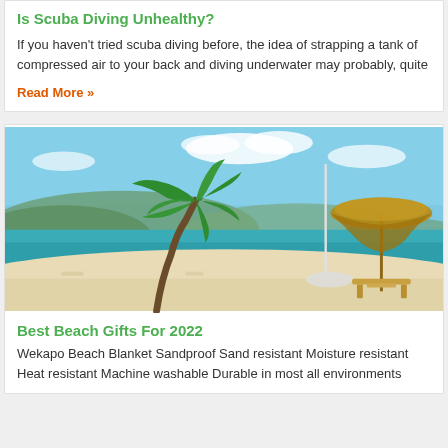Is Scuba Diving Unhealthy?
If you haven't tried scuba diving before, the idea of strapping a tank of compressed air to your back and diving underwater may probably, quite
Read More »
[Figure (photo): Tropical beach scene with a palm tree, a sailboat mast, and a thatched umbrella on white sand, with turquoise ocean water and mountains in the background under a blue sky.]
Best Beach Gifts For 2022
Wekapo Beach Blanket Sandproof Sand resistant Moisture resistant Heat resistant Machine washable Durable in most all environments